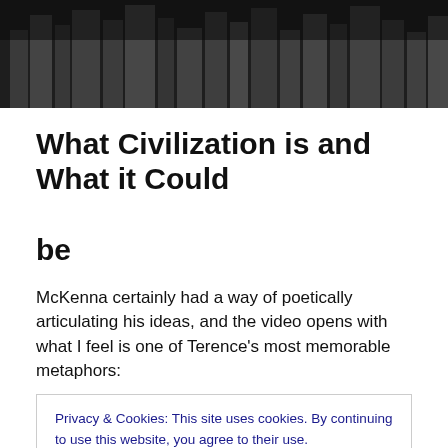[Figure (photo): Black and white aerial/cityscape photograph used as a decorative header banner]
What Civilization is and What it Could be
McKenna certainly had a way of poetically articulating his ideas, and the video opens with what I feel is one of Terence's most memorable metaphors:
Privacy & Cookies: This site uses cookies. By continuing to use this website, you agree to their use.
To find out more, including how to control cookies, see here: Cookie Policy
Close and accept
planet and see that we have the money, the power, the